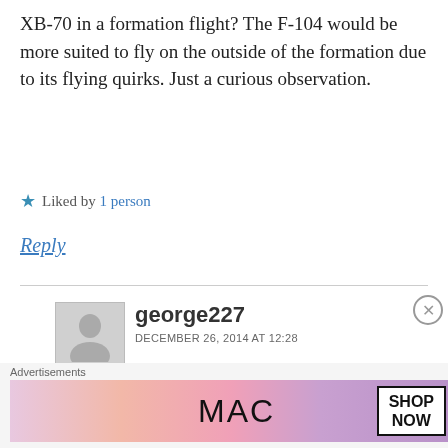XB-70 in a formation flight? The F-104 would be more suited to fly on the outside of the formation due to its flying quirks. Just a curious observation.
★ Liked by 1 person
Reply
george227
DECEMBER 26, 2014 AT 12:28
I was there, June 8, 1966, and this event changed us. If anybody wants to read what it was like for us folk on the ground, send me a
Advertisements